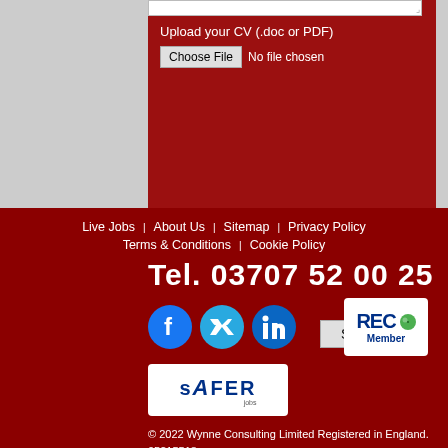[Figure (screenshot): Web form with textarea (partially visible at top), upload CV section with Choose File button and No file chosen text, and a Send button]
Live Jobs | About Us | Sitemap | Privacy Policy | Terms & Conditions | Cookie Policy
Tel. 03707 52 00 25
[Figure (logo): Facebook, Twitter, LinkedIn social media icons and REC Member badge]
[Figure (logo): SAFER jobs logo]
© 2022 Wynne Consulting Limited Registered in England. 05215518
Centurion House, Centurion Way, Farington,